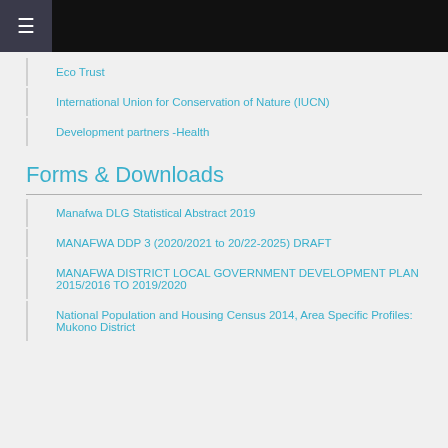Eco Trust
International Union for Conservation of Nature (IUCN)
Development partners -Health
Forms & Downloads
Manafwa DLG Statistical Abstract 2019
MANAFWA DDP 3 (2020/2021 to 20/22-2025) DRAFT
MANAFWA DISTRICT LOCAL GOVERNMENT DEVELOPMENT PLAN 2015/2016 TO 2019/2020
National Population and Housing Census 2014, Area Specific Profiles: Mukono District